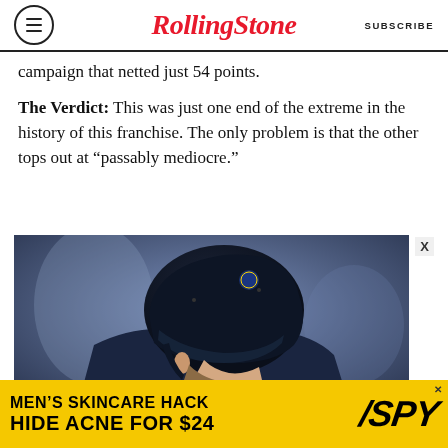RollingStone — SUBSCRIBE
campaign that netted just 54 points.
The Verdict: This was just one end of the extreme in the history of this franchise. The only problem is that the other tops out at “passably mediocre.”
[Figure (photo): Close-up photo of an NHL hockey player wearing a dark navy New York Islanders helmet and jersey, leaning forward, viewed from behind and to the side. Blurred arena background.]
[Figure (infographic): Advertisement banner: MEN'S SKINCARE HACK HIDE ACNE FOR $24 with SPY logo on yellow background]